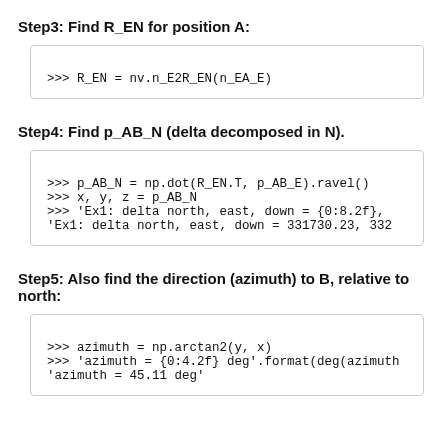Step3: Find R_EN for position A:
>>> R_EN = nv.n_E2R_EN(n_EA_E)
Step4: Find p_AB_N (delta decomposed in N).
>>> p_AB_N = np.dot(R_EN.T, p_AB_E).ravel()
>>> x, y, z = p_AB_N
>>> 'Ex1: delta north, east, down = {0:8.2f}, ...
'Ex1: delta north, east, down = 331730.23, 332...
Step5: Also find the direction (azimuth) to B, relative to north:
>>> azimuth = np.arctan2(y, x)
>>> 'azimuth = {0:4.2f} deg'.format(deg(azimuth...
'azimuth = 45.11 deg'